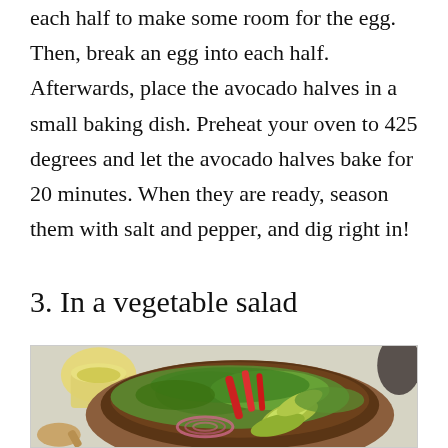each half to make some room for the egg. Then, break an egg into each half. Afterwards, place the avocado halves in a small baking dish. Preheat your oven to 425 degrees and let the avocado halves bake for 20 minutes. When they are ready, season them with salt and pepper, and dig right in!
3. In a vegetable salad
[Figure (photo): A wooden bowl filled with a colorful vegetable salad including avocado slices, red pepper strips, lettuce, red onion rings, and other greens. A glass jar of dressing is visible in the background on the left, and a wooden spoon is partially visible on the lower left.]